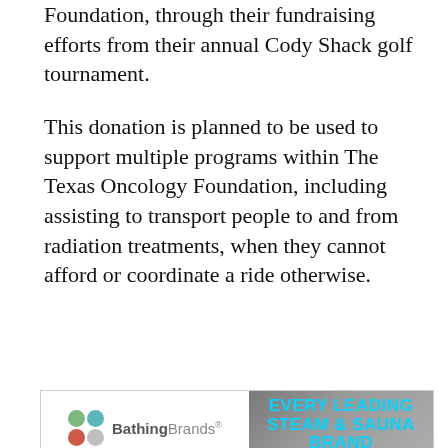Foundation, through their fundraising efforts from their annual Cody Shack golf tournament.
This donation is planned to be used to support multiple programs within The Texas Oncology Foundation, including assisting to transport people to and from radiation treatments, when they cannot afford or coordinate a ride otherwise.
[Figure (illustration): BathingBrands advertisement banner with logo on left (colored bubbles and brand name) and 'EVERY LEADING STEAM & SAUNA BRAND' text on right with brand names listed below]
"We are so happy to that we could help give back to The Texas Oncology Foundation, and very proud of the Cody Pools...
CONTINUE READING
YOU MAY LIKE
[Figure (photo): Cody Pools blue puzzle piece themed image with logos]
Cody Pools Acquires Platinum Pools